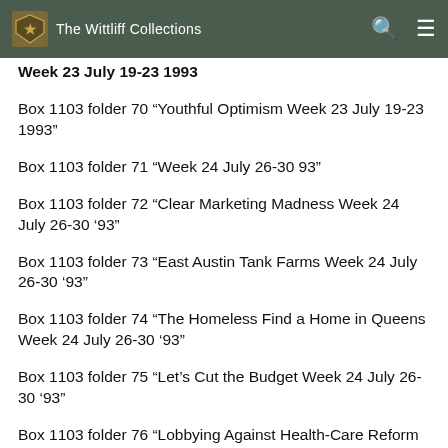The Wittliff Collections
Week 23  July 19-23  1993
Box 1103 folder 70  “Youthful Optimism  Week 23  July 19-23  1993”
Box 1103 folder 71  “Week 24  July 26-30  93”
Box 1103 folder 72  “Clear Marketing Madness  Week 24  July 26-30  ’93”
Box 1103 folder 73  “East Austin Tank Farms  Week 24  July 26-30  ’93”
Box 1103 folder 74  “The Homeless Find a Home in Queens  Week 24  July 26-30  ’93”
Box 1103 folder 75  “Let’s Cut the Budget  Week 24  July 26-30  ’93”
Box 1103 folder 76  “Lobbying Against Health-Care Reform  Week 24  July 26-30  ’93”
Box 1103 folder 77  “Something Something  Week 24...